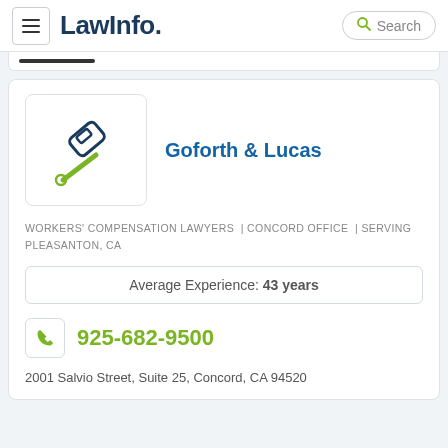LawInfo. Search
[Figure (logo): LawInfo logo with hamburger menu and search box]
[Figure (illustration): Gavel/hammer icon in navy and green representing a law firm]
Goforth & Lucas
WORKERS' COMPENSATION LAWYERS | CONCORD OFFICE | SERVING PLEASANTON, CA
Average Experience: 43 years
925-682-9500
2001 Salvio Street, Suite 25, Concord, CA 94520